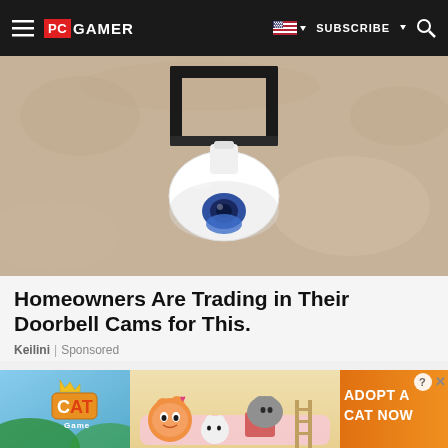PC GAMER | SUBSCRIBE | Search
[Figure (photo): A white PTZ security camera mounted on a bracket against a sandy/stucco wall]
Homeowners Are Trading in Their Doorbell Cams for This.
Keilini | Sponsored
[Figure (screenshot): Game art showing a dark-haired character with shattering effect against an orange/desert background with birds and a figure in a hat]
[Figure (illustration): Cat Game mobile game advertisement banner with cartoon cats and 'ADOPT A CAT NOW' text]